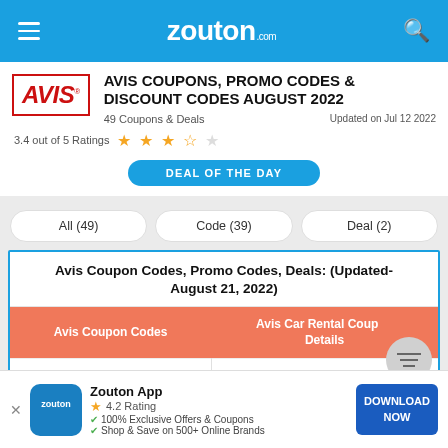zouton.com
AVIS COUPONS, PROMO CODES & DISCOUNT CODES AUGUST 2022
49 Coupons & Deals   Updated on Jul 12 2022
3.4 out of 5 Ratings ★★★½☆
DEAL OF THE DAY
All (49)
Code (39)
Deal (2)
Avis Coupon Codes, Promo Codes, Deals: (Updated- August 21, 2022)
| Avis Coupon Codes | Avis Car Rental Coupon Details |
| --- | --- |
|  | $15 Off on Rentals above |
Zouton App  4.2 Rating  100% Exclusive Offers & Coupons  Shop & Save on 500+ Online Brands